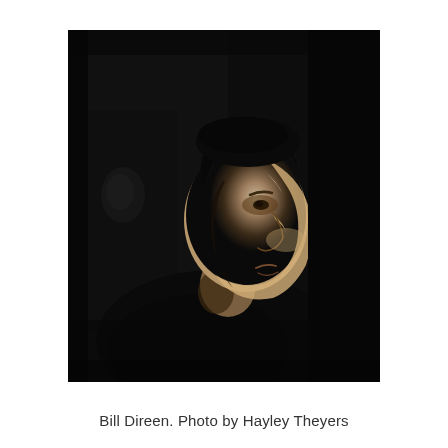[Figure (photo): Black and white portrait photograph of a man (Bill Direen) in profile, facing left, with dark hair and wearing a dark shirt, set against a dark background with dramatic side lighting highlighting his face.]
Bill Direen. Photo by Hayley Theyers